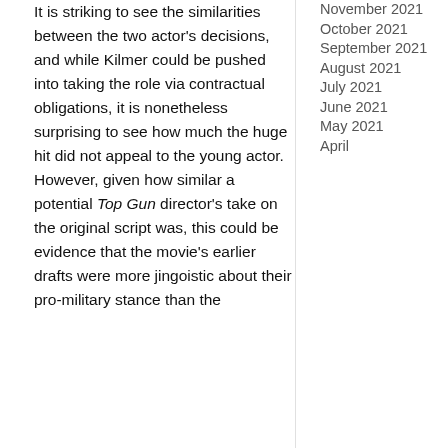It is striking to see the similarities between the two actor's decisions, and while Kilmer could be pushed into taking the role via contractual obligations, it is nonetheless surprising to see how much the huge hit did not appeal to the young actor. However, given how similar a potential Top Gun director's take on the original script was, this could be evidence that the movie's earlier drafts were more jingoistic about their pro-military stance than the
November 2021
October 2021
September 2021
August 2021
July 2021
June 2021
May 2021
April